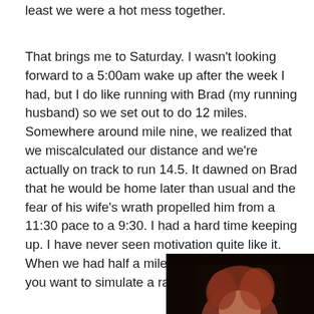least we were a hot mess together.
That brings me to Saturday. I wasn't looking forward to a 5:00am wake up after the week I had, but I do like running with Brad (my running husband) so we set out to do 12 miles. Somewhere around mile nine, we realized that we miscalculated our distance and we're actually on track to run 14.5. It dawned on Brad that he would be home later than usual and the fear of his wife's wrath propelled him from a 11:30 pace to a 9:30. I had a hard time keeping up. I have never seen motivation quite like it. When we had half a mile to go he asked, “do you want to simulate a race finish?”
[Figure (photo): A woman with red/auburn hair in dark lighting, photo cropped at bottom of page]